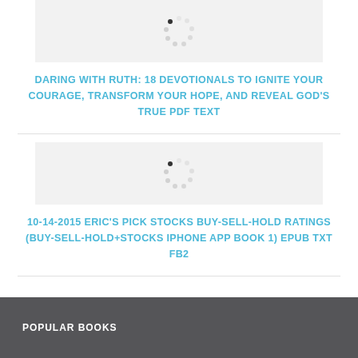[Figure (other): Circular loading spinner icon on grey card background]
DARING WITH RUTH: 18 DEVOTIONALS TO IGNITE YOUR COURAGE, TRANSFORM YOUR HOPE, AND REVEAL GOD'S TRUE PDF TEXT
[Figure (other): Circular loading spinner icon on grey card background]
10-14-2015 ERIC'S PICK STOCKS BUY-SELL-HOLD RATINGS (BUY-SELL-HOLD+STOCKS IPHONE APP BOOK 1) EPUB TXT FB2
POPULAR BOOKS